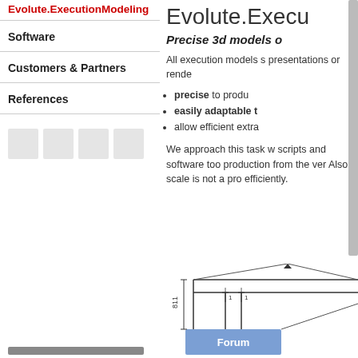Evolute.ExecutionModeling
Software
Customers & Partners
References
Evolute.Execu[tionModeling]
Precise 3d models o[f…]
All execution models s[hare…] presentations or rende[r…]
precise to produ[ce…]
easily adaptable t[o…]
allow efficient extra[ction…]
We approach this task w[ith…] scripts and software too[ls…] production from the ver[y…] Also, scale is not a pro[blem…] efficiently.
[Figure (engineering-diagram): Technical engineering diagram showing a structure labeled Forum with dimension annotations including 811 and other measurements, with diagonal lines indicating perspective or structural connections.]